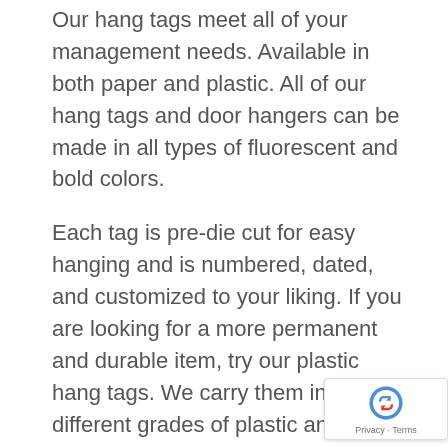Our hang tags meet all of your management needs. Available in both paper and plastic. All of our hang tags and door hangers can be made in all types of fluorescent and bold colors.
Each tag is pre-die cut for easy hanging and is numbered, dated, and customized to your liking. If you are looking for a more permanent and durable item, try our plastic hang tags. We carry them in three different grades of plastic and are made from UV resistant hard plastic fade resistant or fracture.
Hang tags are useful in various shopping, shi... and retail solutions. Our services are certainly here...